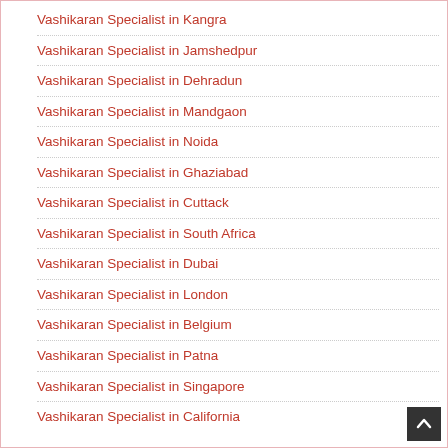Vashikaran Specialist in Kangra
Vashikaran Specialist in Jamshedpur
Vashikaran Specialist in Dehradun
Vashikaran Specialist in Mandgaon
Vashikaran Specialist in Noida
Vashikaran Specialist in Ghaziabad
Vashikaran Specialist in Cuttack
Vashikaran Specialist in South Africa
Vashikaran Specialist in Dubai
Vashikaran Specialist in London
Vashikaran Specialist in Belgium
Vashikaran Specialist in Patna
Vashikaran Specialist in Singapore
Vashikaran Specialist in California